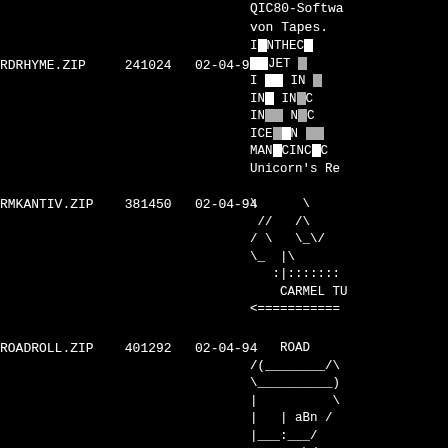| Filename | Size | Date | Description |
| --- | --- | --- | --- |
| RDRHYME.ZIP | 241024 | 02-04-94 | QIC80-Software von Tapes. I[crossword]NTHEC[crossword] [crossword][crossword]JET [crossword] I [crossword][crossword] IN [crossword] IN[crossword] IN[crossword]C IN[crossword][crossword] N[crossword]C ICE[crossword][crossword]N [crossword][crossword] MAN[crossword]CINC[crossword]C Unicorn's Re |
| RMKANTIV.ZIP | 381450 | 02-04-94 | [ASCII art tunnel/road] CARMEL TU |
| ROADROLL.ZIP | 401292 | 02-04-94 | ROAD[ASCII art vehicle] /(____/\ \____) | \ | | aBn / |__:__/ <----\/  |